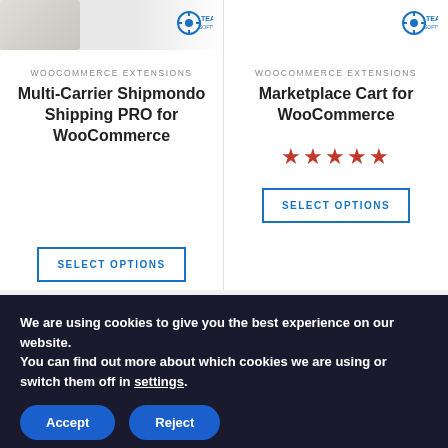[Figure (logo): Team Software logo (blue gear icon with 'TEAM' text) on product card left]
WOOCOMMERCE EXTENSIONS
Multi-Carrier Shipmondo Shipping PRO for WooCommerce
SELECT OPTIONS
[Figure (logo): Team Software logo (blue gear icon with 'TEAM' text) on product card right]
WOOCOMMERCE EXTENSIONS
Marketplace Cart for WooCommerce
[Figure (other): 5 orange/red star rating]
SELECT OPTIONS
[Figure (other): Payment method icons footer: PayPal, VISA, Mastercard, American Express, Diners Club, Discover, G Pay on dark grey background]
We are using cookies to give you the best experience on our website.
You can find out more about which cookies we are using or switch them off in settings.
Accept
Reject